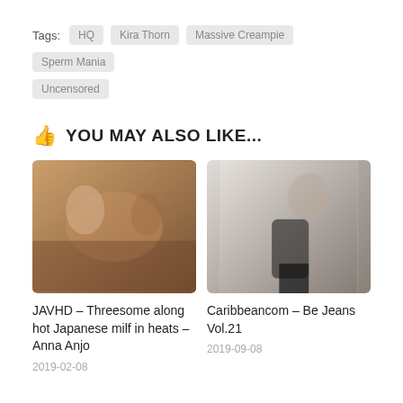Tags: HQ  Kira Thorn  Massive Creampie  Sperm Mania  Uncensored
YOU MAY ALSO LIKE...
[Figure (photo): Thumbnail image for JAVHD article showing group scene]
JAVHD – Threesome along hot Japanese milf in heats – Anna Anjo
2019-02-08
[Figure (photo): Thumbnail image for Caribbeancom article showing woman in black]
Caribbeancom – Be Jeans Vol.21
2019-09-08